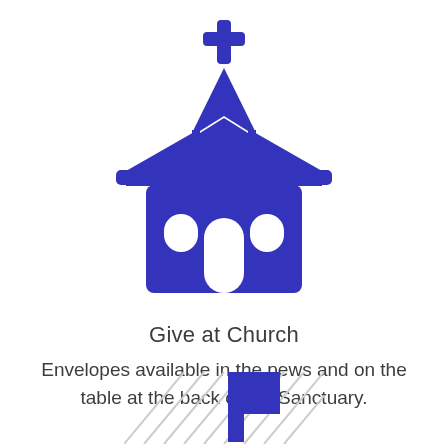[Figure (illustration): Blue church icon with cross on top, steeple, roof overhang, arched door and two arched windows]
Give at Church
Envelopes available in the pews and on the table at the back of the Sanctuary.
[Figure (illustration): Partial blue icon at bottom of page, partially visible]